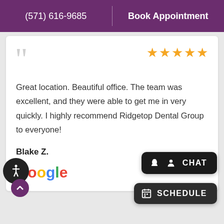(571) 616-9685 | Book Appointment
[Figure (screenshot): Five gold star rating icons]
Great location. Beautiful office. The team was excellent, and they were able to get me in very quickly. I highly recommend Ridgetop Dental Group to everyone!
Blake Z.
[Figure (logo): Google logo in multicolor]
[Figure (screenshot): Chat button and Schedule button]
[Figure (other): Accessibility icon and scroll-up button]